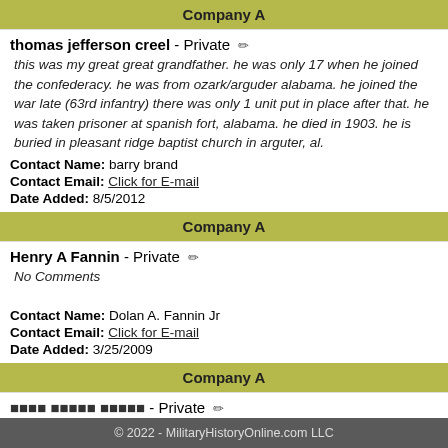Company A
thomas jefferson creel - Private
this was my great great grandfather. he was only 17 when he joined the confederacy. he was from ozark/arguder alabama. he joined the war late (63rd infantry) there was only 1 unit put in place after that. he was taken prisoner at spanish fort, alabama. he died in 1903. he is buried in pleasant ridge baptist church in arguter, al.
Contact Name: barry brand
Contact Email: Click for E-mail
Date Added: 8/5/2012
Company A
Henry A Fannin - Private
No Comments
Contact Name: Dolan A. Fannin Jr
Contact Email: Click for E-mail
Date Added: 3/25/2009
Company A
© 2022 - MilitaryHistoryOnline.com LLC